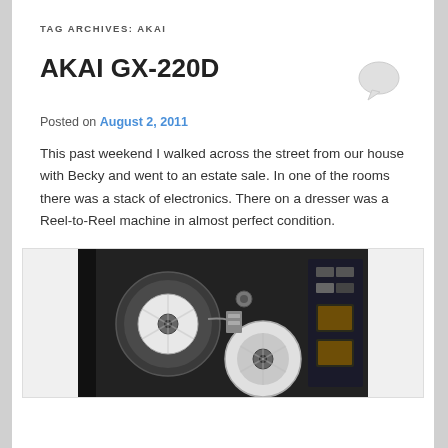TAG ARCHIVES: AKAI
AKAI GX-220D
Posted on August 2, 2011
This past weekend I walked across the street from our house with Becky and went to an estate sale. In one of the rooms there was a stack of electronics. There on a dresser was a Reel-to-Reel machine in almost perfect condition.
[Figure (photo): Photo of an AKAI GX-220D reel-to-reel tape machine viewed from above, showing reels, tape heads, and control panel]